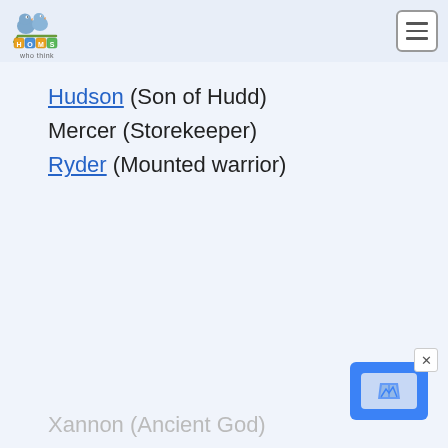Moms Who Think [logo and navigation]
Hudson (Son of Hudd)
Mercer (Storekeeper)
Ryder (Mounted warrior)
Xannon (Ancient God)